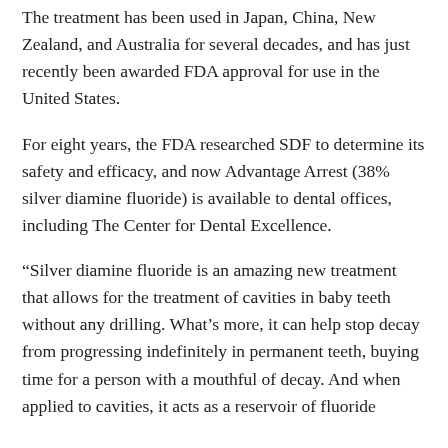The treatment has been used in Japan, China, New Zealand, and Australia for several decades, and has just recently been awarded FDA approval for use in the United States.
For eight years, the FDA researched SDF to determine its safety and efficacy, and now Advantage Arrest (38% silver diamine fluoride) is available to dental offices, including The Center for Dental Excellence.
“Silver diamine fluoride is an amazing new treatment that allows for the treatment of cavities in baby teeth without any drilling. What’s more, it can help stop decay from progressing indefinitely in permanent teeth, buying time for a person with a mouthful of decay. And when applied to cavities, it acts as a reservoir of fluoride